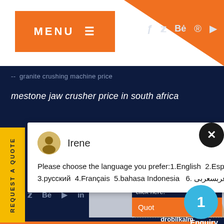[Figure (screenshot): Website header with orange MENU button on left, social media icons (Facebook, Twitter, Behance, Pinterest, YouTube) on right, orange diagonal background shape]
-- granite crushing machine price
mestone jaw crusher price in south africa
[Figure (screenshot): Chat popup with avatar of Irene, message: Please choose the language you prefer:1.English 2.Español 3.русский 4.Français 5.bahasa Indonesia 6. عربسعربى, with close X button]
[Figure (screenshot): Right side panel with woman photo, blue circle with number 1, Have any... click here. text, orange Quote button, Enquiry section, drobilkalm text]
Have any  click here.
Enquiry
drobilkalm